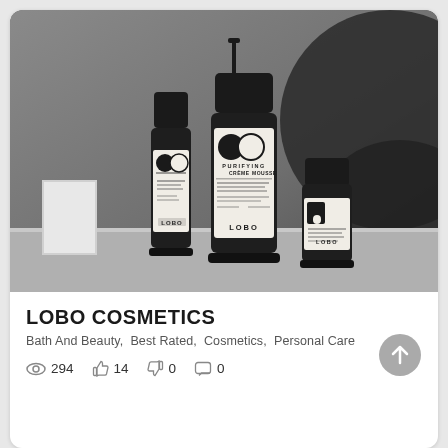[Figure (photo): Three LOBO cosmetics bottles/containers with black caps and cream/white labels showing 'LOBO' branding, arranged on a grey surface with dark circular shapes in background]
LOBO COSMETICS
Bath And Beauty,  Best Rated,  Cosmetics,  Personal Care
294  14  0  0